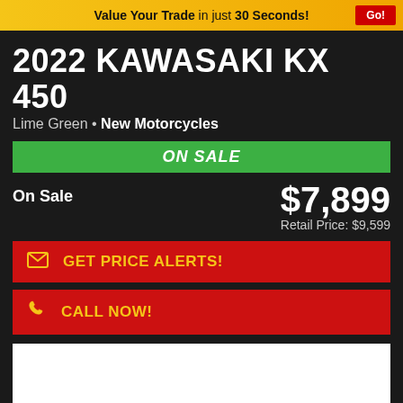Value Your Trade in just 30 Seconds! Go!
2022 KAWASAKI KX 450
Lime Green • New Motorcycles
ON SALE
On Sale  $7,899
Retail Price: $9,599
✉  GET PRICE ALERTS!
📞  CALL NOW!
[Figure (photo): 2022 Kawasaki KX 450 motorcycle in Lime Green color, front three-quarter view showing the dirt bike with green fairings, black seat, and gold forks]